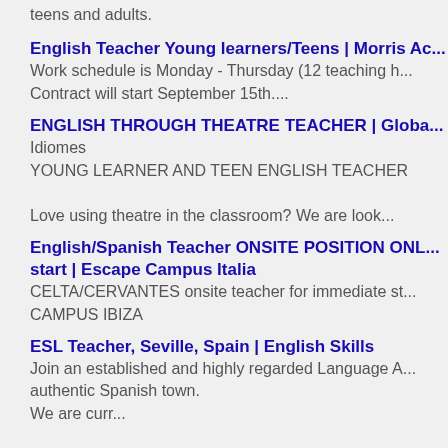teens and adults.
English Teacher Young learners/Teens | Morris Ac... Work schedule is Monday - Thursday (12 teaching h... Contract will start September 15th....
ENGLISH THROUGH THEATRE TEACHER | Globa... Idiomes YOUNG LEARNER AND TEEN ENGLISH TEACHER Love using theatre in the classroom? We are look...
English/Spanish Teacher ONSITE POSITION ONL... start | Escape Campus Italia CELTA/CERVANTES onsite teacher for immediate st... CAMPUS IBIZA
ESL Teacher, Seville, Spain | English Skills Join an established and highly regarded Language A... authentic Spanish town. We are curr...